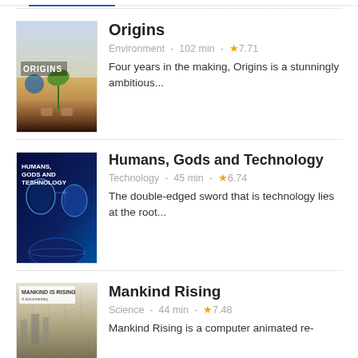[Figure (illustration): Top cropped image strip (partial blue/photo image at top of page)]
Origins — Environment - 102 min - ★7.71 — Four years in the making, Origins is a stunningly ambitious...
Humans, Gods and Technology — Technology - 45 min - ★6.74 — The double-edged sword that is technology lies at the root...
Mankind Rising — Science - 44 min - ★7.48 — Mankind Rising is a computer animated re-